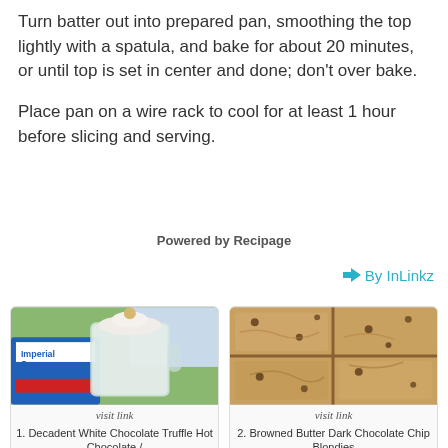Turn batter out into prepared pan, smoothing the top lightly with a spatula, and bake for about 20 minutes, or until top is set in center and done; don't over bake.
Place pan on a wire rack to cool for at least 1 hour before slicing and serving.
Powered by Recipage
By InLinkz
[Figure (photo): Photo of a Decadent White Chocolate Truffle Hot Chocolate in a glass mug with whipped cream and a truffle on top, with Imperial Sugar bag in background]
visit link
1. Decadent White Chocolate Truffle Hot Chocolate /
[Figure (photo): Photo of Browned Butter Dark Chocolate Chip Blondies cut into squares, viewed from above]
visit link
2. Browned Butter Dark Chocolate Chip Blondies